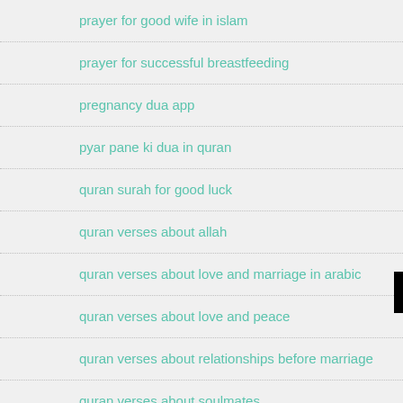prayer for good wife in islam
prayer for successful breastfeeding
pregnancy dua app
pyar pane ki dua in quran
quran surah for good luck
quran verses about allah
quran verses about love and marriage in arabic
quran verses about love and peace
quran verses about relationships before marriage
quran verses about soulmates
[Figure (other): Black banner overlay with text 'Click to Consult on Whatsapp']